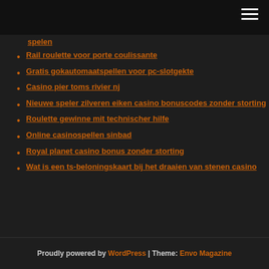spelen
Rail roulette voor porte coulissante
Gratis gokautomaatspellen voor pc-slotgekte
Casino pier toms rivier nj
Nieuwe speler zilveren eiken casino bonuscodes zonder storting
Roulette gewinne mit technischer hilfe
Online casinospellen sinbad
Royal planet casino bonus zonder storting
Wat is een ts-beloningskaart bij het draaien van stenen casino
Proudly powered by WordPress | Theme: Envo Magazine